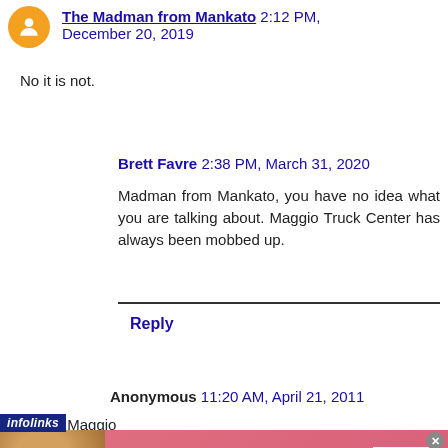The Madman from Mankato  2:12 PM, December 20, 2019
No it is not.
Brett Favre  2:38 PM, March 31, 2020
Madman from Mankato, you have no idea what you are talking about. Maggio Truck Center has always been mobbed up.
Reply
Anonymous  11:20 AM, April 21, 2011
RIP Joe Maggio
[Figure (photo): Victoria's Secret advertisement banner with woman photo, VS logo, SHOP THE COLLECTION text, and SHOP NOW button]